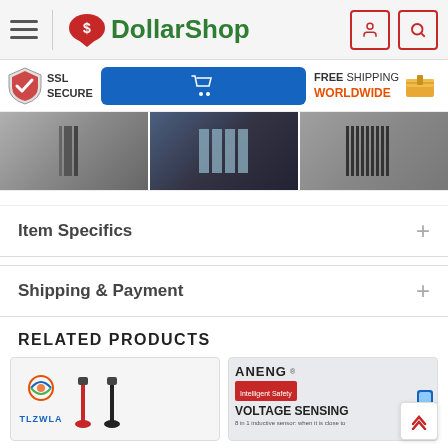[Figure (screenshot): DollarShop website header with hamburger menu, logo, user icon and search icon]
[Figure (screenshot): Trust bar with SSL Secure badge, blue shopping cart button, and Free Shipping Worldwide with box icon]
[Figure (photo): Three product images showing electronic components/connectors]
Item Specifics
Shipping & Payment
RELATED PRODUCTS
[Figure (photo): TLZWLA branded product card with red wires]
[Figure (photo): ANENG Voltage Sensing product card]